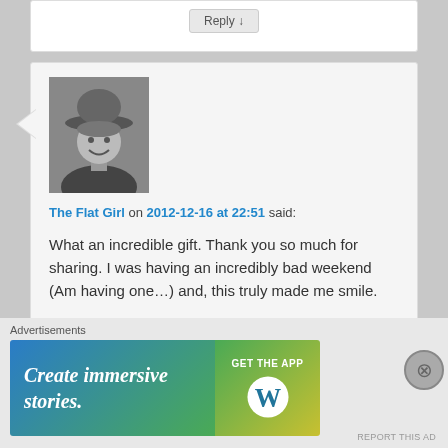[Figure (screenshot): Partial top of a comment reply button area, white background with a Reply button]
[Figure (photo): Black and white profile photo of a woman wearing a wide-brimmed hat, smiling]
The Flat Girl on 2012-12-16 at 22:51 said:
What an incredible gift. Thank you so much for sharing. I was having an incredibly bad weekend (Am having one…) and, this truly made me smile.

Always, Me
Advertisements
[Figure (screenshot): WordPress advertisement banner: 'Create immersive stories.' with GET THE APP and WordPress logo]